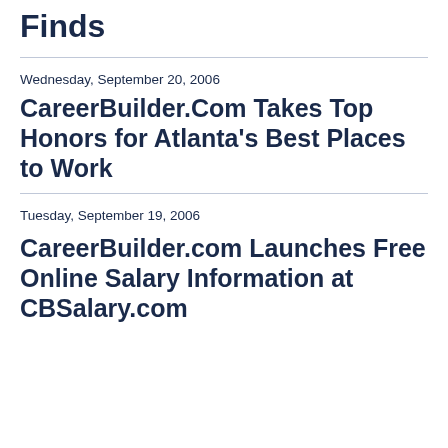Finds
Wednesday, September 20, 2006
CareerBuilder.Com Takes Top Honors for Atlanta's Best Places to Work
Tuesday, September 19, 2006
CareerBuilder.com Launches Free Online Salary Information at CBSalary.com